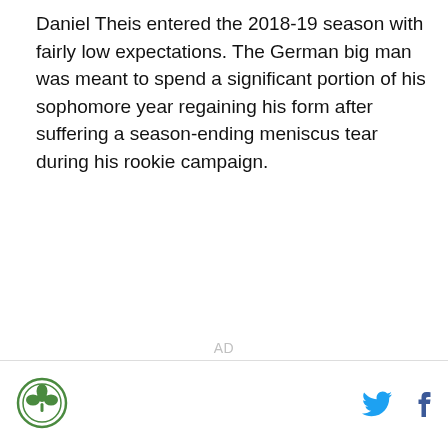Daniel Theis entered the 2018-19 season with fairly low expectations. The German big man was meant to spend a significant portion of his sophomore year regaining his form after suffering a season-ending meniscus tear during his rookie campaign.
AD
[logo] [twitter] [facebook]